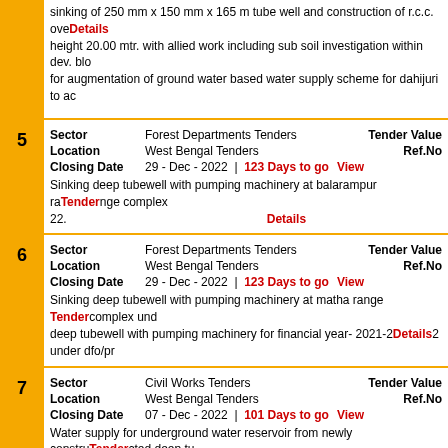sinking of 250 mm x 150 mm x 165 m tube well and construction of r.c.c. overhead tank height 20.00 mtr. with allied work including sub soil investigation within dev. block for augmentation of ground water based water supply scheme for dahijuri to ac...
Details
| Field | Value | Right |
| --- | --- | --- |
| Sector | Forest Departments Tenders | Tender Value |
| Location | West Bengal Tenders | Ref.No |
| Closing Date | 29 - Dec - 2022 | 123 Days to go | View |
Sinking deep tubewell with pumping machinery at balarampur range complex 22.
| Field | Value | Right |
| --- | --- | --- |
| Sector | Forest Departments Tenders | Tender Value |
| Location | West Bengal Tenders | Ref.No |
| Closing Date | 29 - Dec - 2022 | 123 Days to go | View |
Sinking deep tubewell with pumping machinery at matha range complex und deep tubewell with pumping machinery for financial year- 2021-22 under dfo/pr...
| Field | Value | Right |
| --- | --- | --- |
| Sector | Civil Works Tenders | Tender Value |
| Location | West Bengal Tenders | Ref.No |
| Closing Date | 07 - Dec - 2022 | 101 Days to go | View |
Water supply for underground water reservoir from newly constructed deep tu...